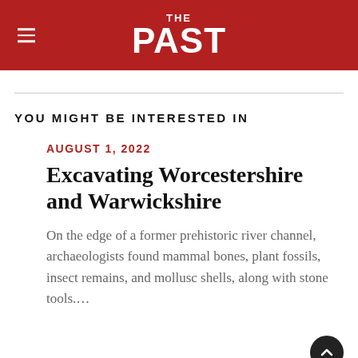THE PAST
YOU MIGHT BE INTERESTED IN
AUGUST 1, 2022
Excavating Worcestershire and Warwickshire
On the edge of a former prehistoric river channel, archaeologists found mammal bones, plant fossils, insect remains, and mollusc shells, along with stone tools.…